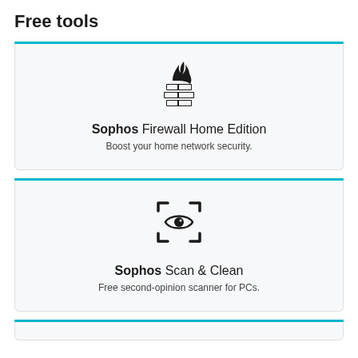Free tools
[Figure (illustration): Firewall icon: brick wall with flames on top, representing Sophos Firewall Home Edition]
Sophos Firewall Home Edition
Boost your home network security.
[Figure (illustration): Scan icon: eye inside a dashed rectangle viewfinder, representing Sophos Scan & Clean]
Sophos Scan & Clean
Free second-opinion scanner for PCs.